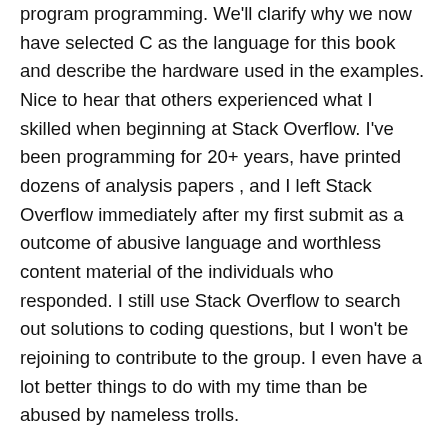program programming. We'll clarify why we now have selected C as the language for this book and describe the hardware used in the examples. Nice to hear that others experienced what I skilled when beginning at Stack Overflow. I've been programming for 20+ years, have printed dozens of analysis papers , and I left Stack Overflow immediately after my first submit as a outcome of abusive language and worthless content material of the individuals who responded. I still use Stack Overflow to search out solutions to coding questions, but I won't be rejoining to contribute to the group. I even have a lot better things to do with my time than be abused by nameless trolls.